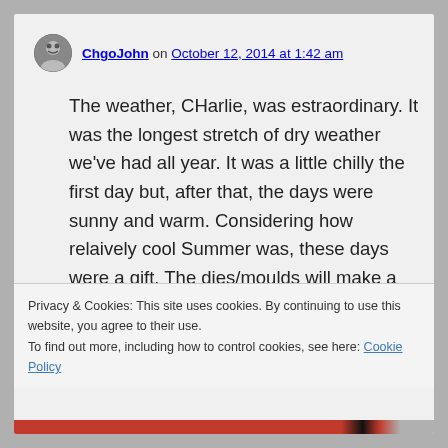ChgoJohn on October 12, 2014 at 1:42 am
The weather, CHarlie, was estraordinary. It was the longest stretch of dry weather we've had all year. It was a little chilly the first day but, after that, the days were sunny and warm. Considering how relaively cool Summer was, these days were a gift. The dies/moulds will make a dozn or more
Privacy & Cookies: This site uses cookies. By continuing to use this website, you agree to their use.
To find out more, including how to control cookies, see here: Cookie Policy
Close and accept